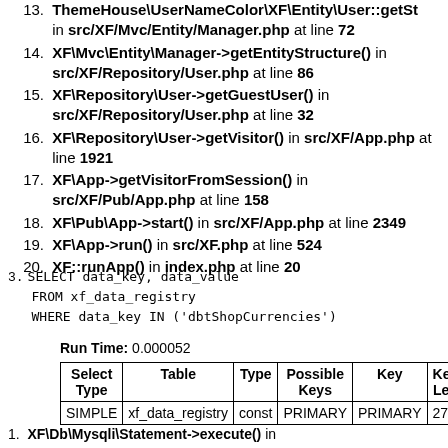13. ThemeHouse\UserNameColor\XF\Entity\User::getSt... in src/XF/Mvc/Entity/Manager.php at line 72
14. XF\Mvc\Entity\Manager->getEntityStructure() in src/XF/Repository/User.php at line 86
15. XF\Repository\User->getGuestUser() in src/XF/Repository/User.php at line 32
16. XF\Repository\User->getVisitor() in src/XF/App.php at line 1921
17. XF\App->getVisitorFromSession() in src/XF/Pub/App.php at line 158
18. XF\Pub\App->start() in src/XF/App.php at line 2349
19. XF\App->run() in src/XF.php at line 524
20. XF::runApp() in index.php at line 20
3. SELECT data_key, data_value
   FROM xf_data_registry
   WHERE data_key IN ('dbtShopCurrencies')
Run Time: 0.000052
| Select Type | Table | Type | Possible Keys | Key | Key Len |
| --- | --- | --- | --- | --- | --- |
| SIMPLE | xf_data_registry | const | PRIMARY | PRIMARY | 27 |
1. XF\Db\Mysqli\Statement->execute() in